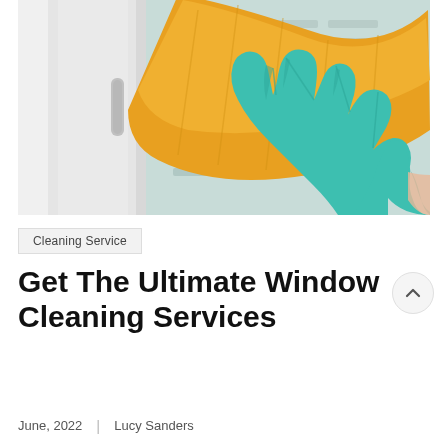[Figure (photo): A hand wearing a teal/green rubber glove holding an orange cleaning cloth, wiping a white window frame. The background shows a blurred scene through the window.]
Cleaning Service
Get The Ultimate Window Cleaning Services
June, 2022  |  Lucy Sanders